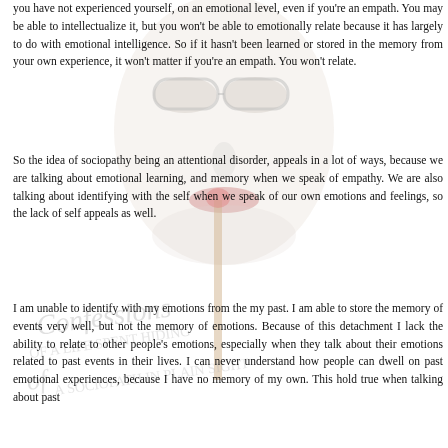you have not experienced yourself, on an emotional level, even if you're an empath. You may be able to intellectualize it, but you won't be able to emotionally relate because it has largely to do with emotional intelligence. So if it hasn't been learned or stored in the memory from your own experience, it won't matter if you're an empath. You won't relate.
So the idea of sociopathy being an attentional disorder, appeals in a lot of ways, because we are talking about emotional learning, and memory when we speak of empathy. We are also talking about identifying with the self when we speak of our own emotions and feelings, so the lack of self appeals as well.
I am unable to identify with my emotions from the my past. I am able to store the memory of events very well, but not the memory of emotions. Because of this detachment I lack the ability to relate to other people's emotions, especially when they talk about their emotions related to past events in their lives. I can never understand how people can dwell on past emotional experiences, because I have no memory of my own. This hold true when talking about past
[Figure (illustration): Faded background image of a face (person with glasses) and text watermark reading 'CONFESSIONS OF A LIFE SPENT HIDING OF A SOCIOPATH IN PLAIN SIGHT']